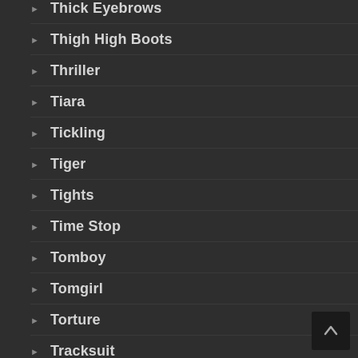Thick Eyebrows
Thigh High Boots
Thriller
Tiara
Tickling
Tiger
Tights
Time Stop
Tomboy
Tomgirl
Torture
Tracksuit
Tragedy